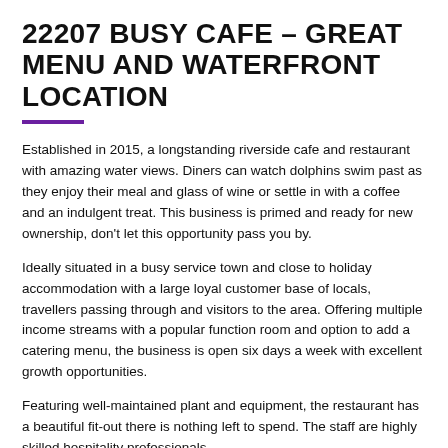22207 BUSY CAFE – GREAT MENU AND WATERFRONT LOCATION
Established in 2015, a longstanding riverside cafe and restaurant with amazing water views. Diners can watch dolphins swim past as they enjoy their meal and glass of wine or settle in with a coffee and an indulgent treat. This business is primed and ready for new ownership, don't let this opportunity pass you by.
Ideally situated in a busy service town and close to holiday accommodation with a large loyal customer base of locals, travellers passing through and visitors to the area. Offering multiple income streams with a popular function room and option to add a catering menu, the business is open six days a week with excellent growth opportunities.
Featuring well-maintained plant and equipment, the restaurant has a beautiful fit-out there is nothing left to spend. The staff are highly skilled hospitality professionals